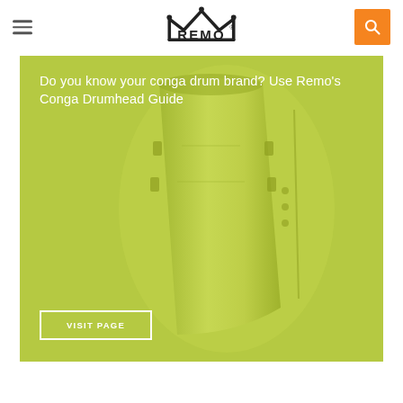Remo navigation bar with hamburger menu, Remo crown logo, and orange search button
[Figure (photo): Yellow-green conga drum on a lime green background with promotional text overlay and VISIT PAGE button]
Do you know your conga drum brand? Use Remo's Conga Drumhead Guide
VISIT PAGE